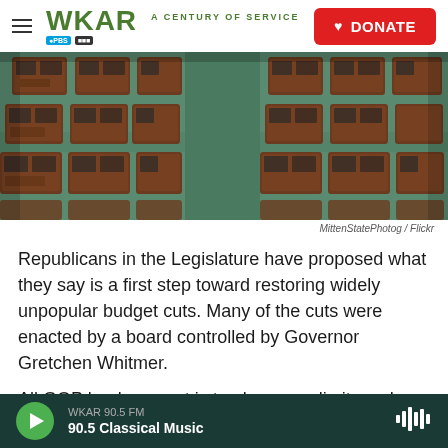WKAR A CENTURY OF SERVICE | DONATE
[Figure (photo): Empty legislative chamber desks and chairs viewed from above, wooden desks arranged in rows on green carpet]
MittenStatePhotog / Flickr
Republicans in the Legislature have proposed what they say is a first step toward restoring widely unpopular budget cuts. Many of the cuts were enacted by a board controlled by Governor Gretchen Whitmer.
All GOP leaders want is to place new limits on her
WKAR 90.5 FM
90.5 Classical Music